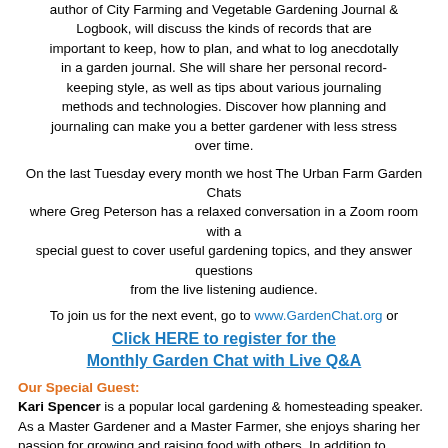author of City Farming and Vegetable Gardening Journal & Logbook, will discuss the kinds of records that are important to keep, how to plan, and what to log anecdotally in a garden journal. She will share her personal record-keeping style, as well as tips about various journaling methods and technologies. Discover how planning and journaling can make you a better gardener with less stress over time.
On the last Tuesday every month we host The Urban Farm Garden Chats where Greg Peterson has a relaxed conversation in a Zoom room with a special guest to cover useful gardening topics, and they answer questions from the live listening audience.
To join us for the next event, go to www.GardenChat.org or Click HERE to register for the Monthly Garden Chat with Live Q&A
Our Special Guest:
Kari Spencer is a popular local gardening & homesteading speaker. As a Master Gardener and a Master Farmer, she enjoys sharing her passion for growing and raising food with others. In addition to teaching classes all over the city of Phoenix, she is the creator of Urban Farm U's Growing Food the Basics & Backyard Livestock courses. She and her family operate The Micro Farm Project, a small farm in North Phoenix, where gardens and livestock